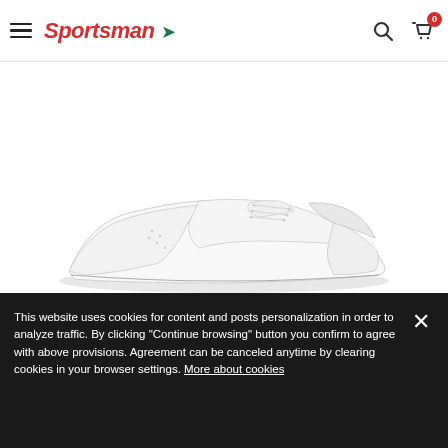Sportsman [logo] — navigation header with hamburger menu, search and cart icons
€32.95
NEW
[Figure (photo): White low-top leather sneaker photographed from the side on a white background]
This website uses cookies for content and posts personalization in order to analyze traffic. By clicking "Continue browsing" button you confirm to agree with above provisions. Agreement can be canceled anytime by clearing cookies in your browser settings. More about cookies